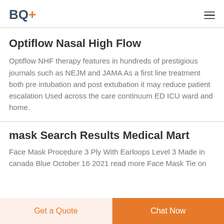BQ+
Optiflow Nasal High Flow
Optiflow NHF therapy features in hundreds of prestigious journals such as NEJM and JAMA As a first line treatment both pre intubation and post extubation it may reduce patient escalation Used across the care continuum ED ICU ward and home.
mask Search Results Medical Mart
Face Mask Procedure 3 Ply With Earloops Level 3 Made in canada Blue October 16 2021 read more Face Mask Tie on